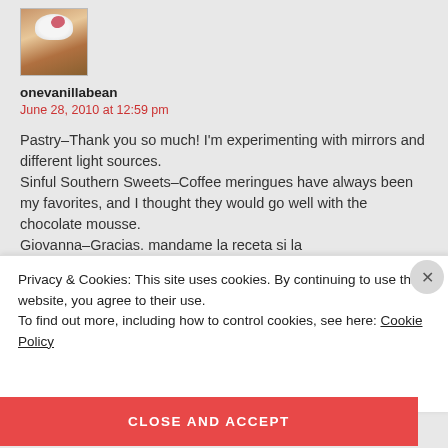[Figure (photo): Small avatar image of a cupcake with white frosting and a pink decoration]
onevanillabean
June 28, 2010 at 12:59 pm
Pastry–Thank you so much! I'm experimenting with mirrors and different light sources. Sinful Southern Sweets–Coffee meringues have always been my favorites, and I thought they would go well with the chocolate mousse. Giovanna–Gracias. mandame la receta si la
Privacy & Cookies: This site uses cookies. By continuing to use this website, you agree to their use. To find out more, including how to control cookies, see here: Cookie Policy
CLOSE AND ACCEPT